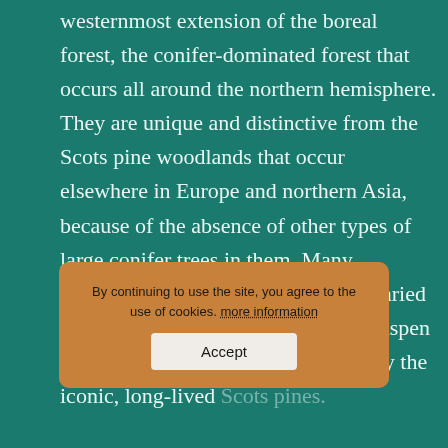westernmost extension of the boreal forest, the conifer-dominated forest that occurs all around the northern hemisphere. They are unique and distinctive from the Scots pine woodlands that occur elsewhere in Europe and northern Asia, because of the absence of other types of large conifer trees in them. Many Caledonian pine forests have more varied canopies with birch, rowan, willow, aspen and juniper but they are dominated by the iconic, long-lived Scots pines.
By continuing to use the site, you agree to the use of cookies. more information
Accept
Native pinewoods are ecological communities composed not just of trees.